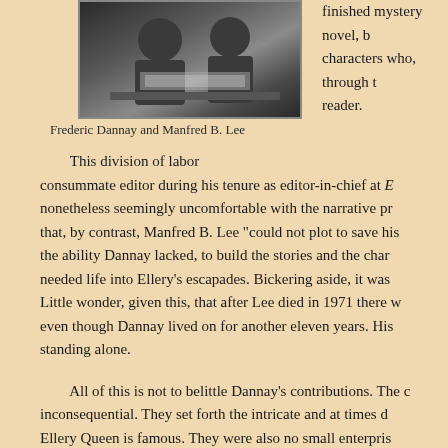[Figure (photo): Black and white photograph of Frederic Dannay and Manfred B. Lee, two men at a desk with papers]
Frederic Dannay and Manfred B. Lee
finished mystery novel, b characters who, through t reader.
This division of labor consummate editor during his tenure as editor-in-chief at E nonetheless seemingly uncomfortable with the narrative pr that, by contrast, Manfred B. Lee "could not plot to save his the ability Dannay lacked, to build the stories and the char needed life into Ellery's escapades. Bickering aside, it was Little wonder, given this, that after Lee died in 1971 there w even though Dannay lived on for another eleven years. His standing alone.
All of this is not to belittle Dannay's contributions. The c inconsequential. They set forth the intricate and at times d Ellery Queen is famous. They were also no small enterpris Dannay's sons Douglas and Richard, which appears as a c and Landru, 2000), that the outline for The Player on the O for And on the Eighth Day, 66 pages, and the outline for Th